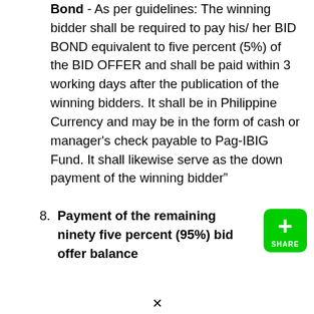Bond - As per guidelines: The winning bidder shall be required to pay his/ her BID BOND equivalent to five percent (5%) of the BID OFFER and shall be paid within 3 working days after the publication of the winning bidders. It shall be in Philippine Currency and may be in the form of cash or manager's check payable to Pag-IBIG Fund. It shall likewise serve as the down payment of the winning bidder”
8. Payment of the remaining ninety five percent (95%) bid offer balance